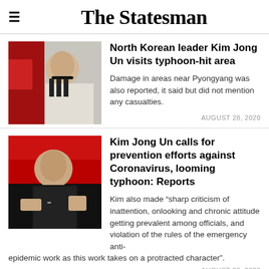The Statesman
North Korean leader Kim Jong Un visits typhoon-hit area
Damage in areas near Pyongyang was also reported, it said but did not mention any casualties.
AUGUST 28, 2020
Kim Jong Un calls for prevention efforts against Coronavirus, looming typhoon: Reports
Kim also made “sharp criticism of inattention, onlooking and chronic attitude getting prevalent among officials, and violation of the rules of the emergency anti-epidemic work as this work takes on a protracted character”.
AUGUST 26, 2020